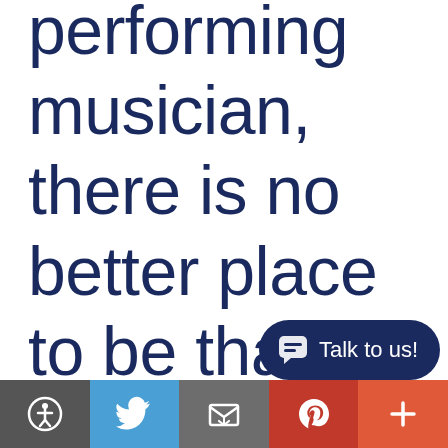performing musician, there is no better place to be than in the Popular Music program at Palm Beach Atlantic university.
[Figure (screenshot): Chat widget button with dark navy rounded pill shape containing a chat icon and 'Talk to us!' text]
[Figure (infographic): Bottom navigation/share bar with five icon buttons: accessibility icon (dark grey), Twitter bird icon (blue), email/envelope icon (grey), Pinterest P icon (red), plus icon (orange-red)]